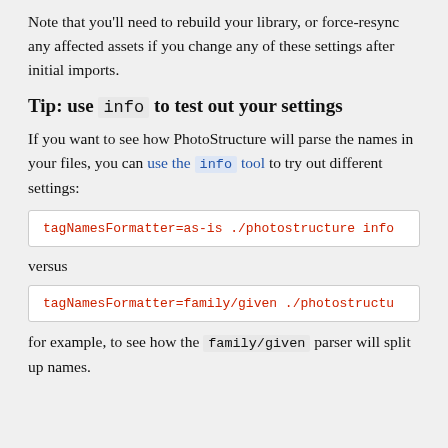Note that you'll need to rebuild your library, or force-resync any affected assets if you change any of these settings after initial imports.
Tip: use info to test out your settings
If you want to see how PhotoStructure will parse the names in your files, you can use the info tool to try out different settings:
tagNamesFormatter=as-is ./photostructure info
versus
tagNamesFormatter=family/given ./photostructure info
for example, to see how the family/given parser will split up names.